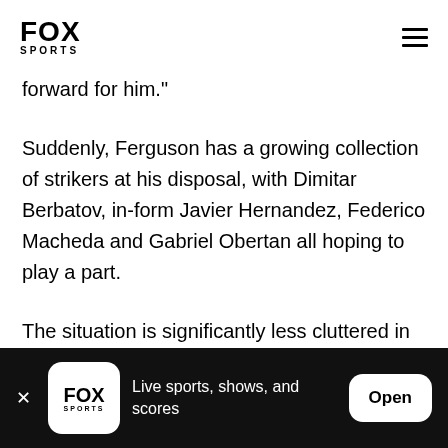FOX SPORTS
forward for him."
Suddenly, Ferguson has a growing collection of strikers at his disposal, with Dimitar Berbatov, in-form Javier Hernandez, Federico Macheda and Gabriel Obertan all hoping to play a part.
The situation is significantly less cluttered in central midfield as Darren Fletcher has been ruled out of
Live sports, shows, and scores